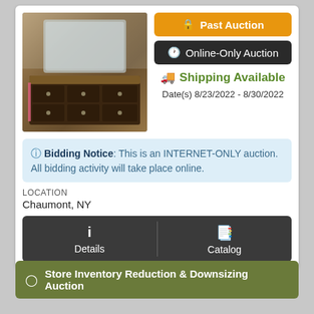[Figure (photo): Photo of a dark wood dresser with mirror, multiple drawers with ornate drawer pulls, photographed in a room.]
🔒 Past Auction
🕐 Online-Only Auction
🚚 Shipping Available
Date(s) 8/23/2022 - 8/30/2022
ℹ Bidding Notice: This is an INTERNET-ONLY auction. All bidding activity will take place online.
LOCATION
Chaumont, NY
Details
Catalog
🕐 Store Inventory Reduction & Downsizing Auction